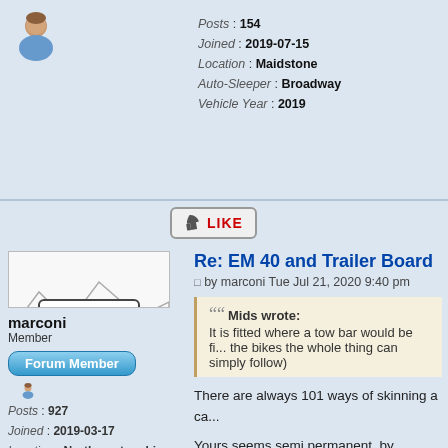[Figure (illustration): Small avatar icon of a person (user silhouette in blue/brown tones)]
Posts : 154
Joined : 2019-07-15
Location : Maidstone
Auto-Sleeper : Broadway
Vehicle Year : 2019
[Figure (illustration): Like button with thumbs up icon and red LIKE text]
[Figure (illustration): Hand-drawn sketch avatar of a camper van with people inside, labelled TYPER]
marconi
Member
[Figure (illustration): Forum Member badge button in blue gradient]
[Figure (illustration): Small avatar icon of a person (user silhouette in blue/brown tones)]
Posts : 927
Joined : 2019-03-17
Location : Northamptonshire
Auto-Sleeper : Nuevo EK
Vehicle Year : 2019
Re: EM 40 and Trailer Board
by marconi Tue Jul 21, 2020 9:40 pm
Mids wrote:
It is fitted where a tow bar would be fi... the bikes the whole thing can simply ... follow)
There are always 101 ways of skinning a ca...
Yours seems semi permanent, by unscrewe...
My rack and lighting board needs to be rapid... drive, it folds up with the rack when bikes or... not in use so sunlight and the weather rapi...